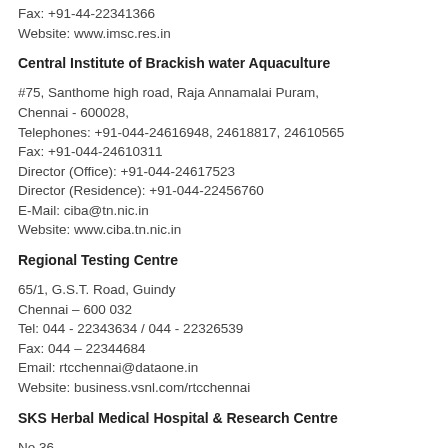Fax: +91-44-22341366
Website: www.imsc.res.in
Central Institute of Brackish water Aquaculture
#75, Santhome high road, Raja Annamalai Puram, Chennai - 600028,
Telephones: +91-044-24616948, 24618817, 24610565
Fax: +91-044-24610311
Director (Office): +91-044-24617523
Director (Residence): +91-044-22456760
E-Mail: ciba@tn.nic.in
Website: www.ciba.tn.nic.in
Regional Testing Centre
65/1, G.S.T. Road, Guindy
Chennai – 600 032
Tel: 044 - 22343634 / 044 - 22326539
Fax: 044 – 22344684
Email: rtcchennai@dataone.in
Website: business.vsnl.com/rtcchennai
SKS Herbal Medical Hospital & Research Centre
No 36